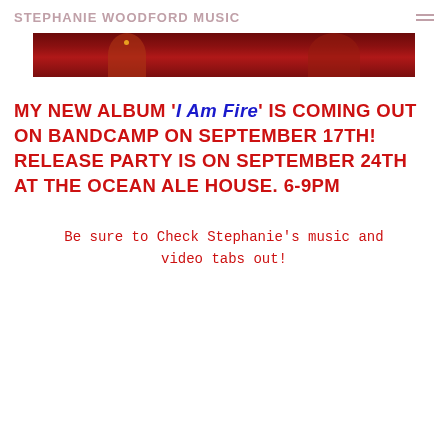STEPHANIE WOODFORD MUSIC
[Figure (photo): Dark red/maroon banner image showing partial silhouette or figure, with abstract red tones]
MY NEW ALBUM 'I Am Fire' IS COMING OUT ON BANDCAMP ON SEPTEMBER 17TH! RELEASE PARTY IS ON SEPTEMBER 24TH AT THE OCEAN ALE HOUSE. 6-9PM
Be sure to Check Stephanie's music and video tabs out!